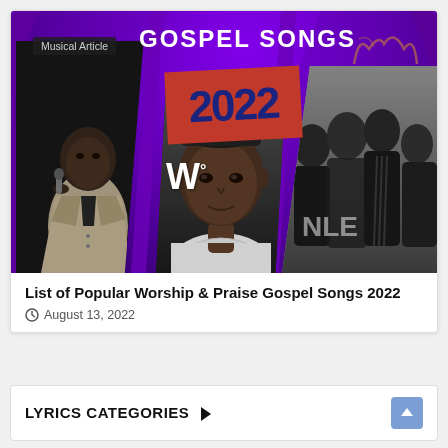[Figure (photo): Gospel Songs 2022 promotional image collage with multiple artists/performers on purple circular disc background, showing 'Musical Article' badge, 'GOSPEL SONGS' text, '2022' red stamp, and photos of various gospel artists]
List of Popular Worship & Praise Gospel Songs 2022
August 13, 2022
LYRICS CATEGORIES